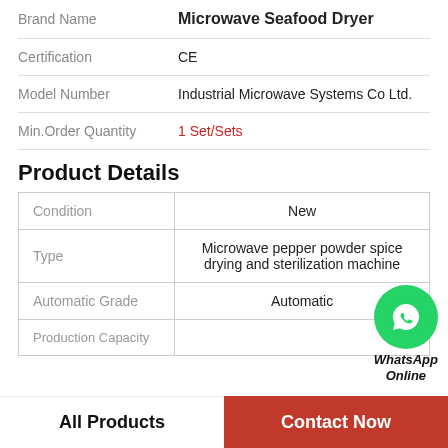| Field | Value |
| --- | --- |
| Brand Name | Microwave Seafood Dryer |
| Certification | CE |
| Model Number | Industrial Microwave Systems Co Ltd. |
| Min.Order Quantity | 1 Set/Sets |
Product Details
| Condition | New |
| --- | --- |
| Condition | New |
| Type | Microwave pepper powder spice drying and sterilization machine |
| Automatic Grade | Automatic |
| Production Capacity |  |
[Figure (logo): WhatsApp Online green circle icon with phone handset, labeled WhatsApp Online]
All Products
Contact Now